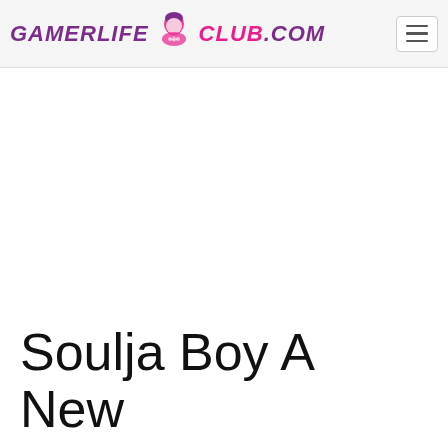GAMERLIFE CLUB.COM
Soulja Boy A New